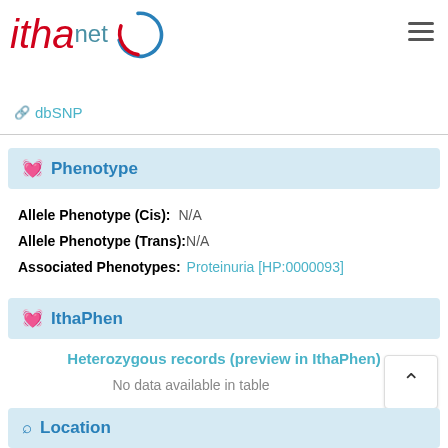[Figure (logo): ithanet logo with red italic text 'itha' and blue 'net' with circular arc graphic]
dbSNP
Phenotype
Allele Phenotype (Cis): N/A
Allele Phenotype (Trans):N/A
Associated Phenotypes: Proteinuria [HP:0000093]
IthaPhen
Heterozygous records (preview in IthaPhen)
No data available in table
Location